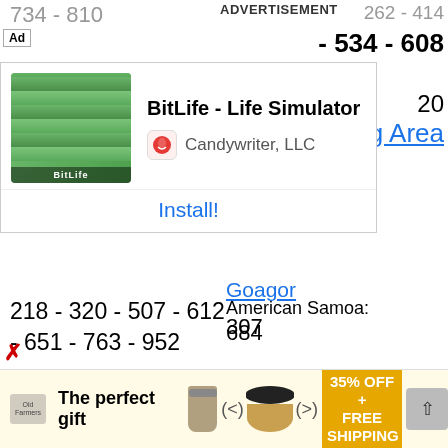734 - 810
ADVERTISEMENT
262 - 414
534 - 608
20
g Area
[Figure (screenshot): App advertisement overlay for BitLife - Life Simulator by Candywriter, LLC with Install button]
Goagor
307
218 - 320 - 507 - 612 - 651 - 763 - 952
American Samoa:
684
Mississippi Area Codes:
228 - 601 - 662 - 769
Guam:
671
Missouri Area Codes:
314 - 417 - 573 - 636 - 660 - 816
Marianas Island:
670
Puerto Rico:
[Figure (screenshot): Bottom banner advertisement: The perfect gift, 35% OFF + FREE SHIPPING]